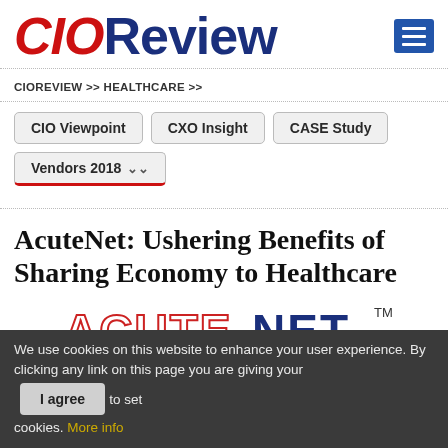CIOReview
CIOREVIEW >> HEALTHCARE >>
CIO Viewpoint
CXO Insight
CASE Study
Vendors 2018
AcuteNet: Ushering Benefits of Sharing Economy to Healthcare
[Figure (logo): AcuteNet company logo in red and dark text with TM mark]
We use cookies on this website to enhance your user experience. By clicking any link on this page you are giving your consent to set cookies. More info